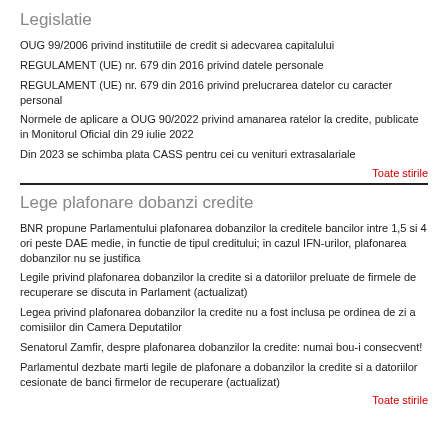Legislatie
OUG 99/2006 privind institutiile de credit si adecvarea capitalului
REGULAMENT (UE) nr. 679 din 2016 privind datele personale
REGULAMENT (UE) nr. 679 din 2016 privind prelucrarea datelor cu caracter personal
Normele de aplicare a OUG 90/2022 privind amanarea ratelor la credite, publicate in Monitorul Oficial din 29 iulie 2022
Din 2023 se schimba plata CASS pentru cei cu venituri extrasalariale
Toate stirile
Lege plafonare dobanzi credite
BNR propune Parlamentului plafonarea dobanzilor la creditele bancilor intre 1,5 si 4 ori peste DAE medie, in functie de tipul creditului; in cazul IFN-urilor, plafonarea dobanzilor nu se justifica
Legile privind plafonarea dobanzilor la credite si a datoriilor preluate de firmele de recuperare se discuta in Parlament (actualizat)
Legea privind plafonarea dobanzilor la credite nu a fost inclusa pe ordinea de zi a comisiilor din Camera Deputatilor
Senatorul Zamfir, despre plafonarea dobanzilor la credite: numai bou-i consecvent!
Parlamentul dezbate marti legile de plafonare a dobanzilor la credite si a datoriilor cesionate de banci firmelor de recuperare (actualizat)
Toate stirile